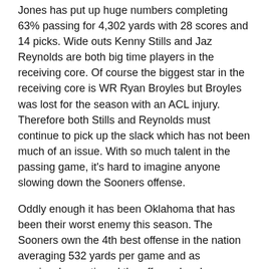Jones has put up huge numbers completing 63% passing for 4,302 yards with 28 scores and 14 picks. Wide outs Kenny Stills and Jaz Reynolds are both big time players in the receiving core. Of course the biggest star in the receiving core is WR Ryan Broyles but Broyles was lost for the season with an ACL injury. Therefore both Stills and Reynolds must continue to pick up the slack which has not been much of an issue. With so much talent in the passing game, it's hard to imagine anyone slowing down the Sooners offense.
Oddly enough it has been Oklahoma that has been their worst enemy this season. The Sooners own the 4th best offense in the nation averaging 532 yards per game and as previously mentioned the offense has been responsible for 40 points per game. However, the major problem has been the turnovers which have plagued the offense in their losses this year.
In Oklahoma's 3 losses this year, they have given up 10 turnovers in those games. In the season finale against Oklahoma State, the Sooners were blown out 44-10 and turnovers were the main reason behind the rare loss. The